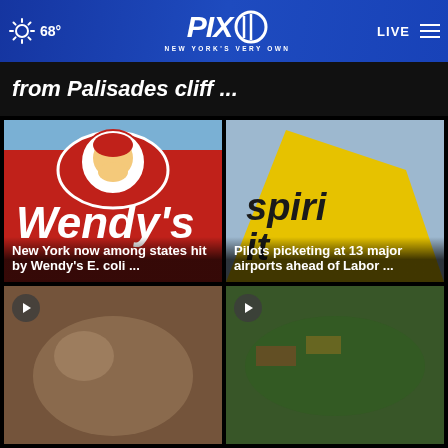[Figure (screenshot): PIX11 news website header with weather (sun icon, 68°), PIX11 logo, LIVE button, and menu icon on blue gradient background]
from Palisades cliff ...
[Figure (photo): Wendy's restaurant sign closeup with red background and white lettering]
New York now among states hit by Wendy's E. coli ...
[Figure (photo): Spirit Airlines yellow airplane tail with 'spirit' text visible]
Pilots picketing at 13 major airports ahead of Labor ...
[Figure (photo): Video thumbnail with play button - close-up of an animal]
[Figure (photo): Video thumbnail with play button - aerial view of wooded area with emergency vehicles]